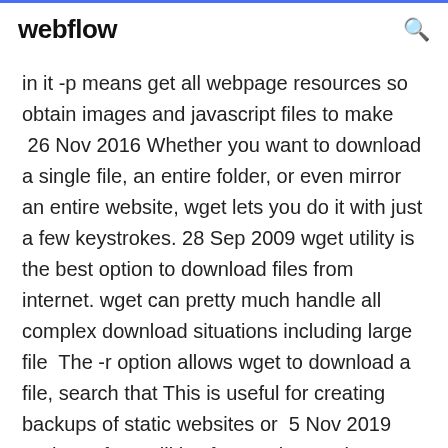webflow
in it -p means get all webpage resources so obtain images and javascript files to make  26 Nov 2016 Whether you want to download a single file, an entire folder, or even mirror an entire website, wget lets you do it with just a few keystrokes. 28 Sep 2009 wget utility is the best option to download files from internet. wget can pretty much handle all complex download situations including large file  The -r option allows wget to download a file, search that This is useful for creating backups of static websites or  5 Nov 2019 Both are free utilities for non-interactive download of files from web. These utilities working in the background even when you are not logged in. 18 Nov 2019 Ever